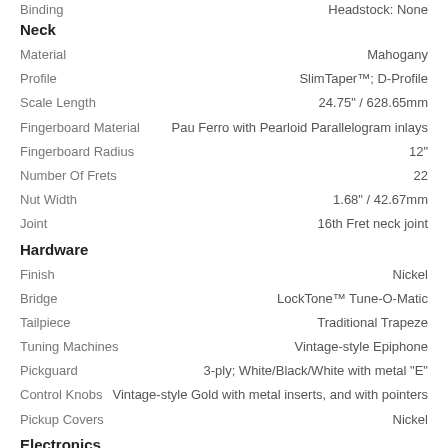Binding | Headstock: None
Neck
Material: Mahogany
Profile: SlimTaper™; D-Profile
Scale Length: 24.75" / 628.65mm
Fingerboard Material: Pau Ferro with Pearloid Parallelogram inlays
Fingerboard Radius: 12"
Number Of Frets: 22
Nut Width: 1.68" / 42.67mm
Joint: 16th Fret neck joint
Hardware
Finish: Nickel
Bridge: LockTone™ Tune-O-Matic
Tailpiece: Traditional Trapeze
Tuning Machines: Vintage-style Epiphone
Pickguard: 3-ply; White/Black/White with metal "E"
Control Knobs: Vintage-style Gold with metal inserts, and with pointers
Pickup Covers: Nickel
Electronics
Neck Pickup: Dogear P-90T Classic™
Bridge Pickup: Dogear P-90R Classic™
Controls: 2- Volume, 2- Tone